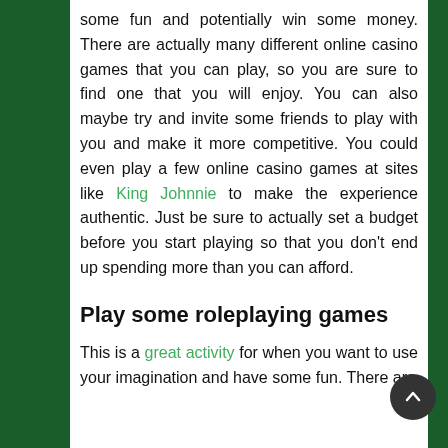some fun and potentially win some money. There are actually many different online casino games that you can play, so you are sure to find one that you will enjoy. You can also maybe try and invite some friends to play with you and make it more competitive. You could even play a few online casino games at sites like King Johnnie to make the experience authentic. Just be sure to actually set a budget before you start playing so that you don't end up spending more than you can afford.
Play some roleplaying games
This is a great activity for when you want to use your imagination and have some fun. There are